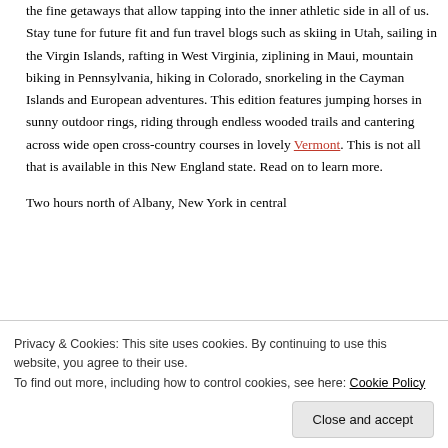the fine getaways that allow tapping into the inner athletic side in all of us. Stay tune for future fit and fun travel blogs such as skiing in Utah, sailing in the Virgin Islands, rafting in West Virginia, ziplining in Maui, mountain biking in Pennsylvania, hiking in Colorado, snorkeling in the Cayman Islands and European adventures. This edition features jumping horses in sunny outdoor rings, riding through endless wooded trails and cantering across wide open cross-country courses in lovely Vermont. This is not all that is available in this New England state. Read on to learn more.
Two hours north of Albany, New York in central
Privacy & Cookies: This site uses cookies. By continuing to use this website, you agree to their use. To find out more, including how to control cookies, see here: Cookie Policy